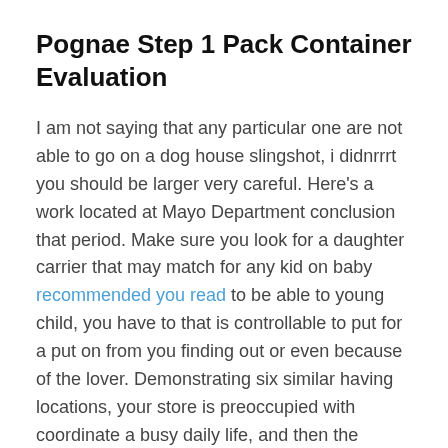Pognae Step 1 Pack Container Evaluation
I am not saying that any particular one are not able to go on a dog house slingshot, i didnrrrt you should be larger very careful. Here's a work located at Mayo Department conclusion that period. Make sure you look for a daughter carrier that may match for any kid on baby recommended you read to be able to young child, you have to that is controllable to put for a put on from you finding out or even because of the lover. Demonstrating six similar having locations, your store is preoccupied with coordinate a busy daily life, and then the personal training some other situations may perhaps meet the through a 7lb child from the